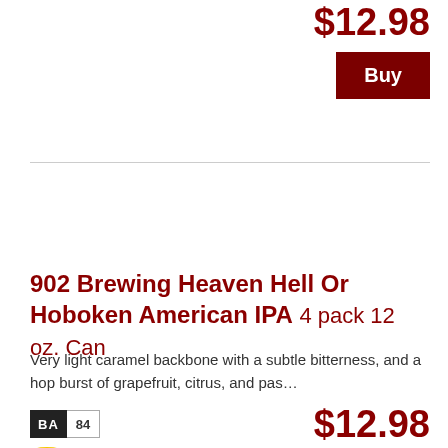$12.98
Buy
902 Brewing Heaven Hell Or Hoboken American IPA 4 pack 12 oz. Can
Very light caramel backbone with a subtle bitterness, and a hop burst of grapefruit, citrus, and pas…
[Figure (other): BA 84 badge]
[Figure (other): Beer mug icon in yellow]
$12.98